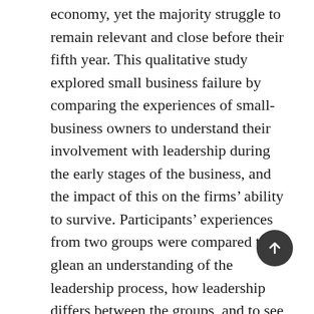economy, yet the majority struggle to remain relevant and close before their fifth year. This qualitative study explored small business failure by comparing the experiences of small-business owners to understand their involvement with leadership during the early stages of the business, and the impact of this on the firms' ability to survive. Participants' experiences from two groups were compared to glean an understanding of the leadership process, how leadership differs between the groups, and to see what themes or constructs emerged that could help to explain the high failure rate. Leadership was perceived to be important when envisioning a path for the future and when providing a platform for employees to succeed. Those who embraced leadership as a skillset were more likely to get through the challenges of the early developmental years while those ignoring the importance of leadership were more likely to close